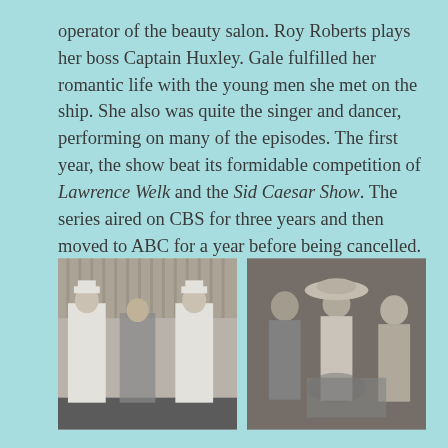operator of the beauty salon. Roy Roberts plays her boss Captain Huxley. Gale fulfilled her romantic life with the young men she met on the ship. She also was quite the singer and dancer, performing on many of the episodes. The first year, the show beat its formidable competition of Lawrence Welk and the Sid Caesar Show. The series aired on CBS for three years and then moved to ABC for a year before being cancelled.
[Figure (photo): Black and white photo of two men in white naval uniforms dancing or posing with a woman in a sparkly outfit]
[Figure (photo): Black and white photo of two women and a man, one woman wearing a large hat, appearing to be at some kind of event or gathering]